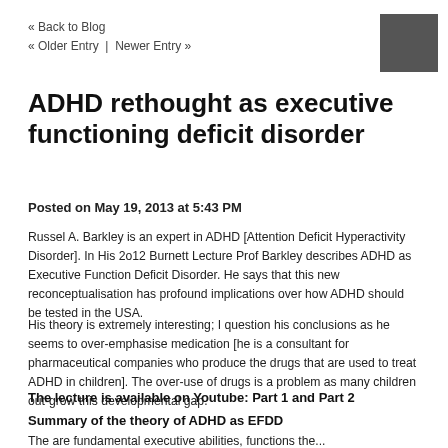« Back to Blog
« Older Entry  |  Newer Entry »
[Figure (logo): Dark gray square logo/image in top right corner]
ADHD rethought as executive functioning deficit disorder
Posted on May 19, 2013 at 5:43 PM
Russel A. Barkley is an expert in ADHD [Attention Deficit Hyperactivity Disorder]. In His 2o12 Burnett Lecture Prof Barkley describes ADHD as Executive Function Deficit Disorder. He says that this new reconceptualisation has profound implications over how ADHD should be tested in the USA.
His theory is extremely interesting; I question his conclusions as he seems to over-emphasise medication [he is a consultant for pharmaceutical companies who produce the drugs that are used to treat ADHD in children]. The over-use of drugs is a problem as many children out-grow this developmental gap.
The lecture is available on Youtube: Part 1 and Part 2
Summary of the theory of ADHD as EFDD
The are fundamental executive abilities, functions the...